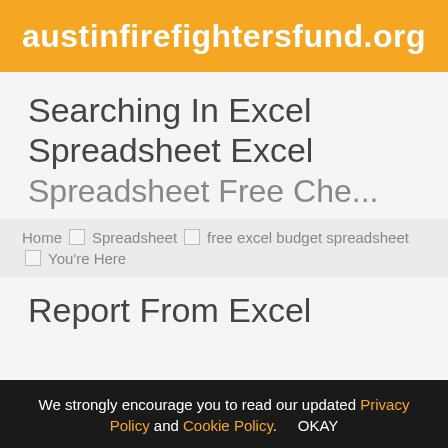austinfirefightersfund.org
Searching In Excel Spreadsheet Excel Spreadsheet Free Cher...
Home □ Spreadsheet □ free excel budget spreadsheet □ You're Here
Report From Excel
We strongly encourage you to read our updated Privacy Policy and Cookie Policy. OKAY